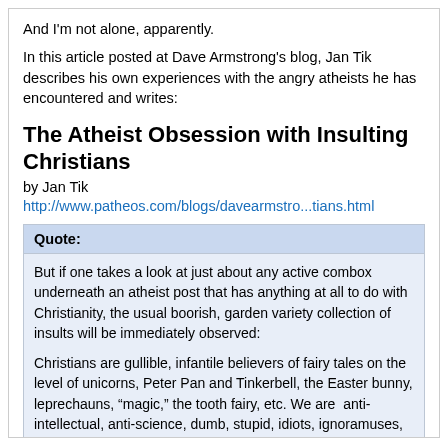And I'm not alone, apparently.
In this article posted at Dave Armstrong's blog, Jan Tik describes his own experiences with the angry atheists he has encountered and writes:
The Atheist Obsession with Insulting Christians
by Jan Tik
http://www.patheos.com/blogs/davearmstro...tians.html
Quote: But if one takes a look at just about any active combox underneath an atheist post that has anything at all to do with Christianity, the usual boorish, garden variety collection of insults will be immediately observed:

Christians are gullible, infantile believers of fairy tales on the level of unicorns, Peter Pan and Tinkerbell, the Easter bunny, leprechauns, “magic,” the tooth fairy, etc. We are  anti-intellectual, anti-science, dumb, stupid, idiots, ignoramuses, and imbeciles who are impervious to evidence of any kind for our beliefs. We have a blind faith that is shielded from reason, fact, and any possible falsifiability. You name it: we’ve been called it by the sadly typical “angry / hostile” atheist...